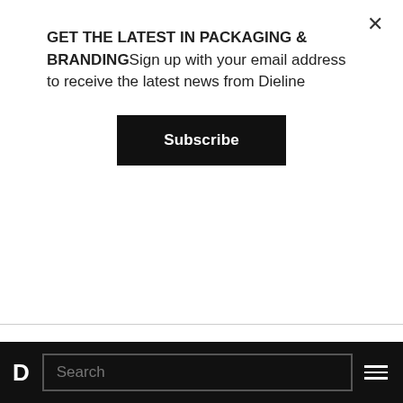GET THE LATEST IN PACKAGING & BRANDINGSign up with your email address to receive the latest news from Dieline
Subscribe
The awards' jury featured a who's who from the world of design—luminaries like Debbie Millman of the Design Matters podcast, Design Army co-founder and CCO Pum Lefebure, A Plastic Planet co-founder Sian Sutherland, Center founder Alex Center, Vice President of Design at Coca-Cola Rapha Abreu, Superunion Brazil Executive Creative Director Heitor Piffer, Hybrid Design co-
D  Search  ≡